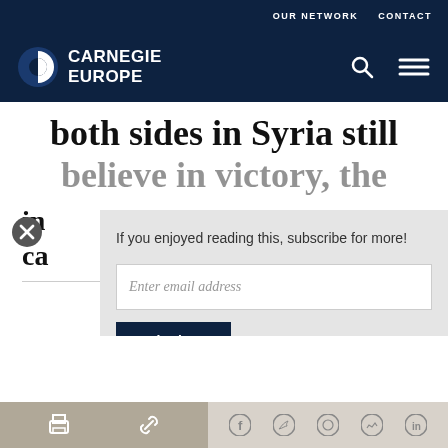OUR NETWORK   CONTACT
[Figure (logo): Carnegie Europe logo with circular icon on dark navy background]
both sides in Syria still believe in victory, the in ca…
If you enjoyed reading this, subscribe for more!
Enter email address
Submit
[Figure (infographic): Bottom toolbar with print, share, Facebook, Twitter, WhatsApp, Messenger, and LinkedIn icons]